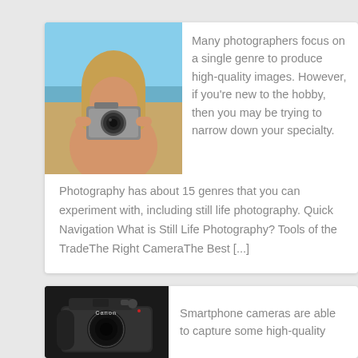[Figure (photo): Person holding a film camera up to their face, photographing; background is a beach/ocean setting]
Many photographers focus on a single genre to produce high-quality images. However, if you're new to the hobby, then you may be trying to narrow down your specialty.
Photography has about 15 genres that you can experiment with, including still life photography. Quick Navigation What is Still Life Photography? Tools of the TradeThe Right CameraThe Best [...]
[Figure (photo): Canon DSLR camera viewed from front/top, black body]
Smartphone cameras are able to capture some high-quality